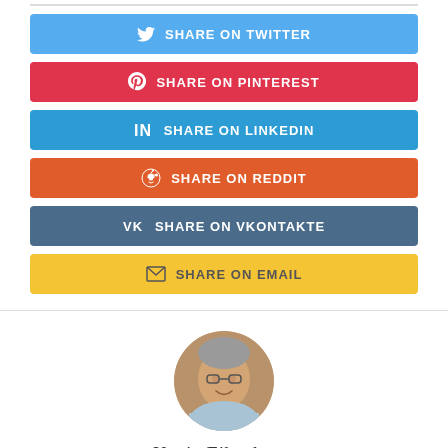SHARE ON TWITTER
SHARE ON PINTEREST
SHARE ON LINKEDIN
SHARE ON REDDIT
SHARE ON VKONTAKTE
SHARE ON EMAIL
[Figure (photo): Circular headshot of Kevin Eikenberry, a middle-aged man with gray hair, smiling, wearing a light blue shirt]
Kevin Eikenberry
[Figure (illustration): Blue verified checkmark icon]